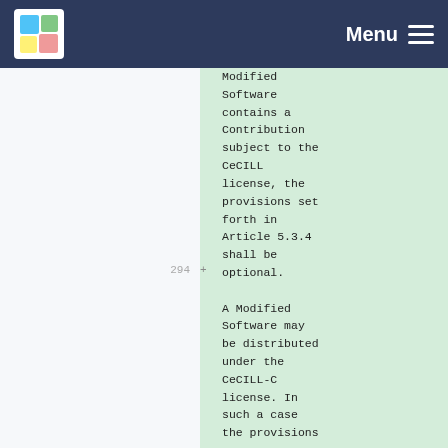Menu
Modified Software contains a Contribution subject to the CeCILL license, the provisions set forth in Article 5.3.4 shall be optional.
A Modified Software may be distributed under the CeCILL-C license. In such a case the provisions...